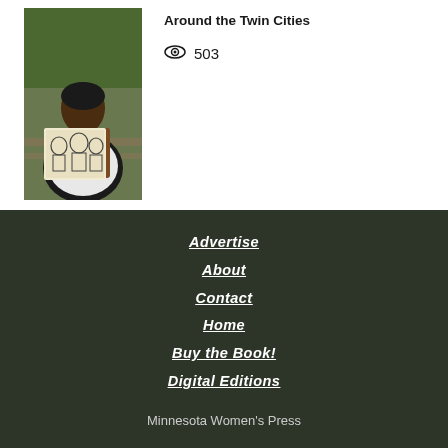[Figure (photo): A woman sitting outdoors holding a drawing/portrait of people, green background]
Around the Twin Cities
503 views
Advertise
About
Contact
Home
Buy the Book!
Digital Editions
Minnesota Women's Press